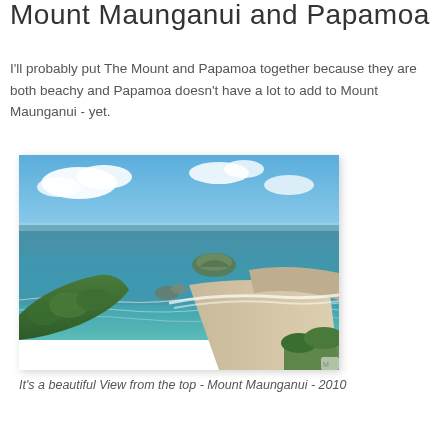Mount Maunganui and Papamoa
I'll probably put The Mount and Papamoa together because they are both beachy and Papamoa doesn't have a lot to add to Mount Maunganui - yet.
[Figure (photo): Aerial/elevated coastal view from top of Mount Maunganui showing a curved beach, green headland, turquoise sea, small rocky island, and blue sky with white clouds. Taken in 2010.]
It's a beautiful View from the top - Mount Maunganui - 2010